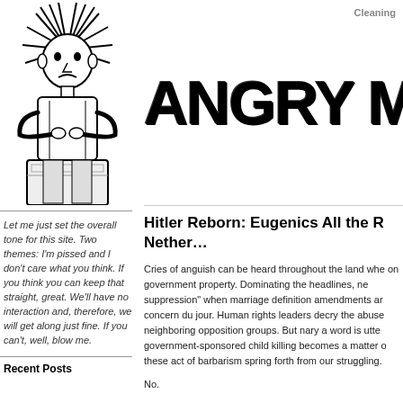Cleaning
[Figure (illustration): Black and white illustration of an angry man with arms crossed and spiky hair radiating outward, wearing a tie, standing at what appears to be a podium or desk]
ANGRY MAN C
Let me just set the overall tone for this site. Two themes: I'm pissed and I don't care what you think. If you think you can keep that straight, great. We'll have no interaction and, therefore, we will get along just fine. If you can't, well, blow me.
Recent Posts
Hitler Reborn: Eugenics All the R Nether…
Cries of anguish can be heard throughout the land whe on government property. Dominating the headlines, ne suppression" when marriage definition amendments ar concern du jour. Human rights leaders decry the abuse neighboring opposition groups. But nary a word is utte government-sponsored child killing becomes a matter o these act of barbarism spring forth from our struggling.
No.